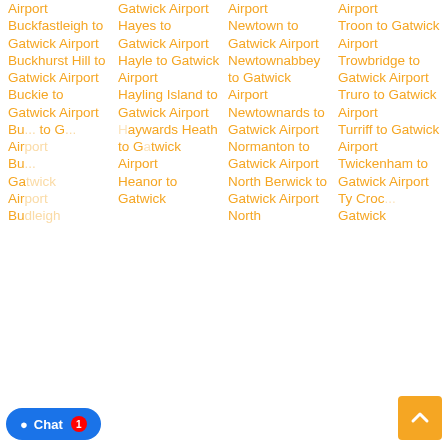Airport
Buckfastleigh to Gatwick Airport
Buckhurst Hill to Gatwick Airport
Buckie to Gatwick Airport
Bu... to Gatwick Airport
Bu... Gatwick Airport
Airport
Budleigh...
Gatwick Airport
Hayes to Gatwick Airport
Hayle to Gatwick Airport
Hayling Island to Gatwick Airport
Haywards Heath to Gatwick Airport
Heanor to Gatwick
Airport
Newtown to Gatwick Airport
Newtownabbey to Gatwick Airport
Newtownards to Gatwick Airport
Normanton to Gatwick Airport
North Berwick to Gatwick Airport
North
Airport
Troon to Gatwick Airport
Trowbridge to Gatwick Airport
Truro to Gatwick Airport
Turriff to Gatwick Airport
Twickenham to Gatwick Airport
Ty Croc... Gatwick